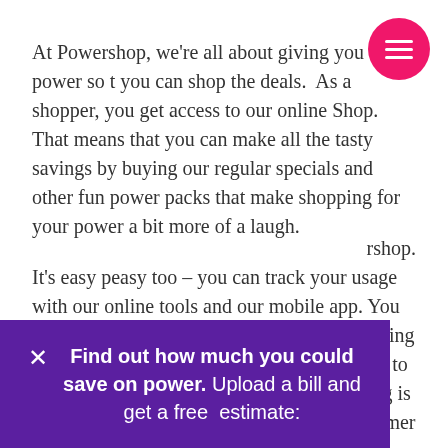At Powershop, we're all about giving you the power so that you can shop the deals.  As a shopper, you get access to our online Shop. That means that you can make all the tasty savings by buying our regular specials and other fun power packs that make shopping for your power a bit more of a laugh.
It's easy peasy too – you can track your usage with our online tools and our mobile app. You can even take care of your future self by buying our Future Packs so you'll have power ready to go in the months down the track. Our pricing is seasonal, so it'll reduce over spring and summer and increase slightly over autumn and winter. Check out how our pricing works at Powershop.
Find out how much you could save on power. Upload a bill and get a free  estimate: